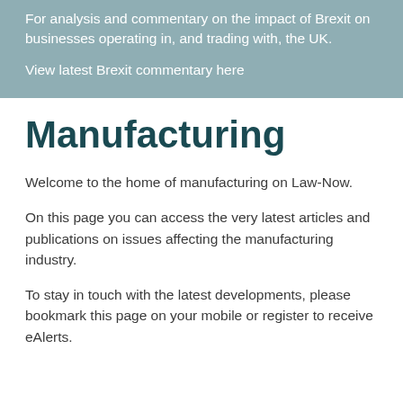For analysis and commentary on the impact of Brexit on businesses operating in, and trading with, the UK.
View latest Brexit commentary here
Manufacturing
Welcome to the home of manufacturing on Law-Now.
On this page you can access the very latest articles and publications on issues affecting the manufacturing industry.
To stay in touch with the latest developments, please bookmark this page on your mobile or register to receive eAlerts.